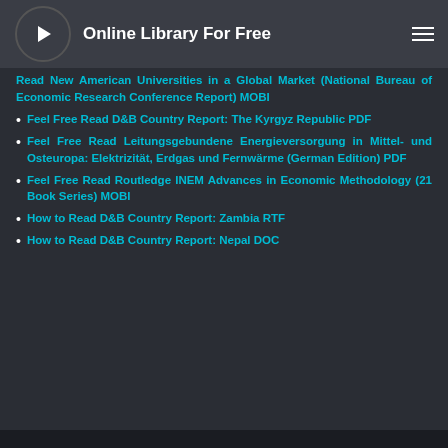Online Library For Free
Read New American Universities in a Global Market (National Bureau of Economic Research Conference Report) MOBI
Feel Free Read D&B Country Report: The Kyrgyz Republic PDF
Feel Free Read Leitungsgebundene Energieversorgung in Mittel- und Osteuropa: Elektrizität, Erdgas und Fernwärme (German Edition) PDF
Feel Free Read Routledge INEM Advances in Economic Methodology (21 Book Series) MOBI
How to Read D&B Country Report: Zambia RTF
How to Read D&B Country Report: Nepal DOC